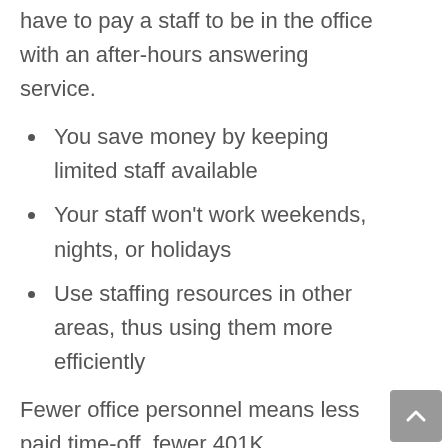have to pay a staff to be in the office with an after-hours answering service.
You save money by keeping limited staff available
Your staff won't work weekends, nights, or holidays
Use staffing resources in other areas, thus using them more efficiently
Fewer office personnel means less paid time-off, fewer 401K contributions, and fewer medical